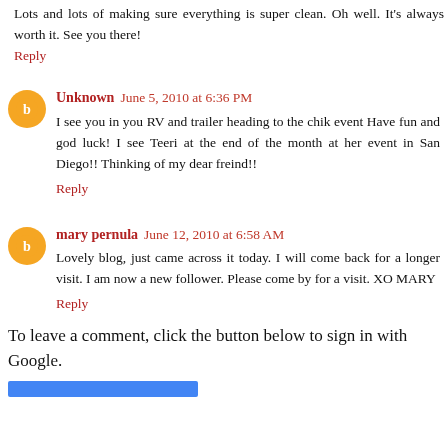Lots and lots of making sure everything is super clean. Oh well. It's always worth it. See you there!
Reply
Unknown  June 5, 2010 at 6:36 PM
I see you in you RV and trailer heading to the chik event Have fun and god luck! I see Teeri at the end of the month at her event in San Diego!! Thinking of my dear freind!!
Reply
mary pernula  June 12, 2010 at 6:58 AM
Lovely blog, just came across it today. I will come back for a longer visit. I am now a new follower. Please come by for a visit. XO MARY
Reply
To leave a comment, click the button below to sign in with Google.